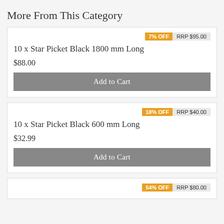More From This Category
7% OFF  RRP $95.00
10 x Star Picket Black 1800 mm Long
$88.00
Add to Cart
18% OFF  RRP $40.00
10 x Star Picket Black 600 mm Long
$32.99
Add to Cart
54% OFF  RRP $80.00